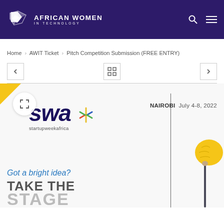African Women in Technology
Home > AWIT Ticket > Pitch Competition Submission (FREE ENTRY)
[Figure (screenshot): Startup Week Africa pitch competition promotional image showing SWA logo, 'NAIROBI July 4-8, 2022', 'Got a bright idea? TAKE THE STAGE' text, and a person holding a crumpled paper lightbulb]